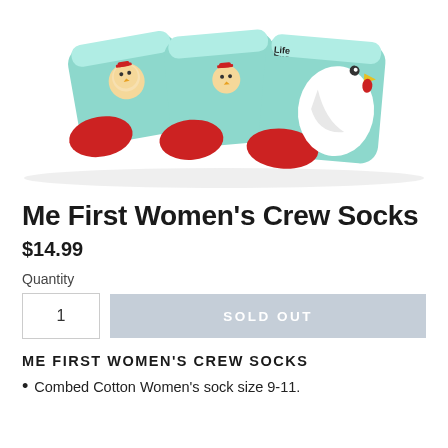[Figure (photo): Three mint green no-show socks with red toes, featuring cartoon chicken and chick designs with 'Life is Good' text visible on one sock, displayed against a white background.]
Me First Women's Crew Socks
$14.99
Quantity
1
SOLD OUT
ME FIRST WOMEN'S CREW SOCKS
Combed Cotton Women's sock size 9-11.